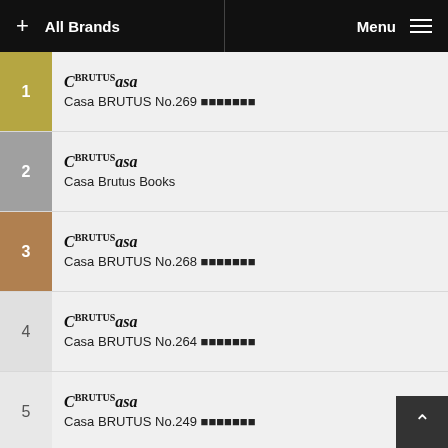+ All Brands | Menu ☰
1 Casa BRUTUS No.269
2 Casa Brutus Books
3 Casa BRUTUS No.268
4 Casa BRUTUS No.264
5 Casa BRUTUS No.249